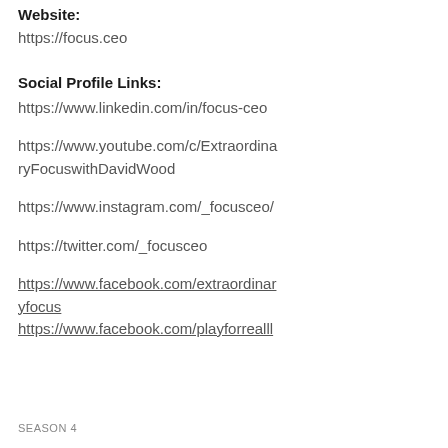Website:
https://focus.ceo
Social Profile Links:
https://www.linkedin.com/in/focus-ceo
https://www.youtube.com/c/ExtraordinaryFocuswithDavidWood
https://www.instagram.com/_focusceo/
https://twitter.com/_focusceo
https://www.facebook.com/extraordinaryfocus
https://www.facebook.com/playforrealll
SEASON 4